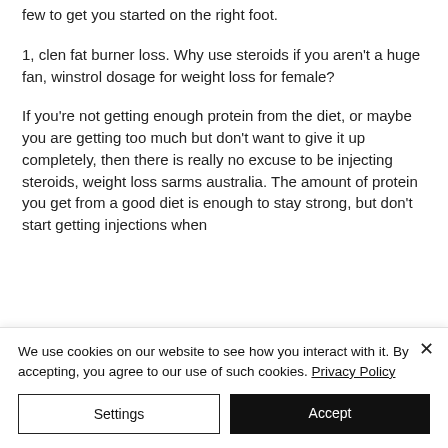few to get you started on the right foot.
1, clen fat burner loss. Why use steroids if you aren't a huge fan, winstrol dosage for weight loss for female?
If you're not getting enough protein from the diet, or maybe you are getting too much but don't want to give it up completely, then there is really no excuse to be injecting steroids, weight loss sarms australia. The amount of protein you get from a good diet is enough to stay strong, but don't start getting injections when
We use cookies on our website to see how you interact with it. By accepting, you agree to our use of such cookies. Privacy Policy
Settings
Accept